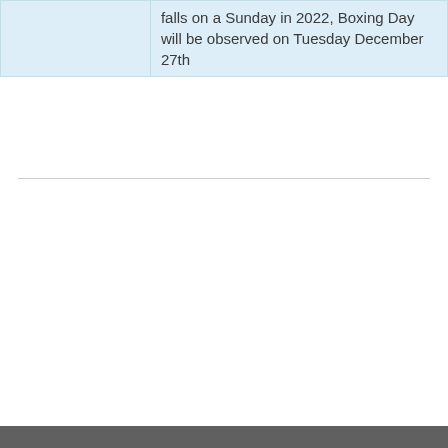|  | falls on a Sunday in 2022, Boxing Day will be observed on Tuesday December 27th |